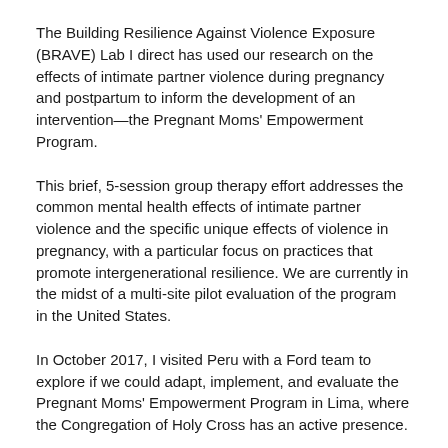The Building Resilience Against Violence Exposure (BRAVE) Lab I direct has used our research on the effects of intimate partner violence during pregnancy and postpartum to inform the development of an intervention—the Pregnant Moms' Empowerment Program.
This brief, 5-session group therapy effort addresses the common mental health effects of intimate partner violence and the specific unique effects of violence in pregnancy, with a particular focus on practices that promote intergenerational resilience. We are currently in the midst of a multi-site pilot evaluation of the program in the United States.
In October 2017, I visited Peru with a Ford team to explore if we could adapt, implement, and evaluate the Pregnant Moms' Empowerment Program in Lima, where the Congregation of Holy Cross has an active presence.